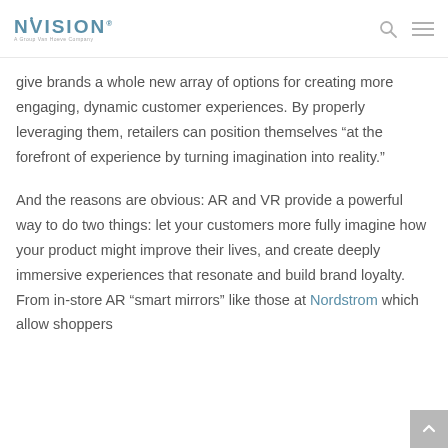NVISION® — A Group Van Hoeve Company
give brands a whole new array of options for creating more engaging, dynamic customer experiences. By properly leveraging them, retailers can position themselves “at the forefront of experience by turning imagination into reality.”
And the reasons are obvious: AR and VR provide a powerful way to do two things: let your customers more fully imagine how your product might improve their lives, and create deeply immersive experiences that resonate and build brand loyalty. From in-store AR “smart mirrors” like those at Nordstrom which allow shoppers